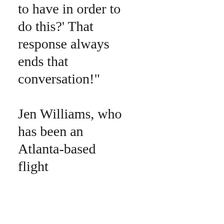to have in order to do this?' That response always ends that conversation!" Jen Williams, who has been an Atlanta-based flight